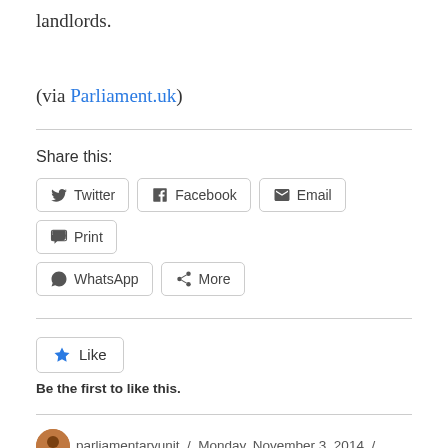landlords.
(via Parliament.uk)
Share this:
[Figure (other): Share buttons: Twitter, Facebook, Email, Print, WhatsApp, More]
[Figure (other): Like button widget]
Be the first to like this.
parliamentaryunit / Monday, November 3, 2014 / Question / financial services, St Albans, welfare